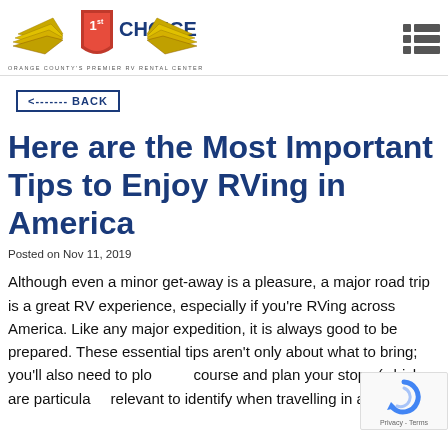[Figure (logo): 1st Choice RV logo with wings and shield, tagline: ORANGE COUNTY'S PREMIER RV RENTAL CENTER]
<------- BACK
Here are the Most Important Tips to Enjoy RVing in America
Posted on Nov 11, 2019
Although even a minor get-away is a pleasure, a major road trip is a great RV experience, especially if you're RVing across America. Like any major expedition, it is always good to be prepared. These essential tips aren't only about what to bring; you'll also need to plot your course and plan your stops (which are particularly relevant to identify when travelling in an RV)